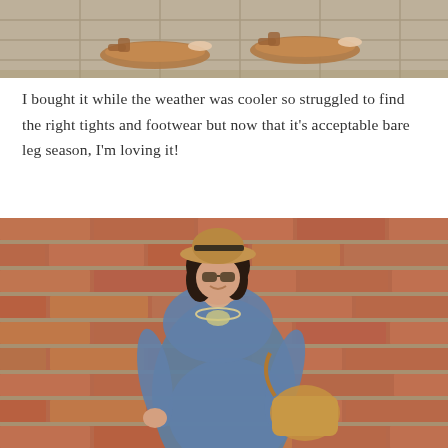[Figure (photo): Close-up photo of sandals/feet on a brick or stone pavement surface — cropped top portion of a fashion blog photo showing brown leather sandals.]
I bought it while the weather was cooler so struggled to find the right tights and footwear but now that it's acceptable bare leg season, I'm loving it!
[Figure (photo): A pregnant woman with dark hair, wearing sunglasses and a straw fedora hat, a blue long-sleeve fitted dress, a silver statement necklace, and holding a tan leather bag. She is smiling and leaning against a red brick wall.]